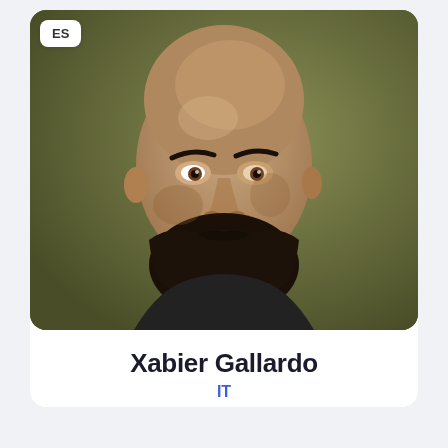[Figure (photo): Headshot portrait of a bald man with a dark beard wearing a dark t-shirt, photographed against an olive/khaki background. A small 'ES' badge appears in the top-left corner of the photo card.]
Xabier Gallardo
IT